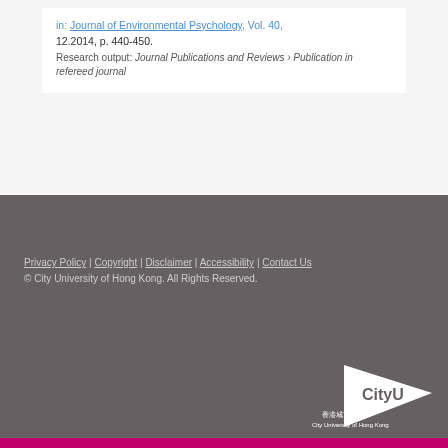in: Journal of Environmental Psychology, Vol. 40, 12.2014, p. 440-450.
Research output: Journal Publications and Reviews › Publication in refereed journal
Privacy Policy | Copyright | Disclaimer | Accessibility | Contact Us
© City University of Hong Kong. All Rights Reserved.